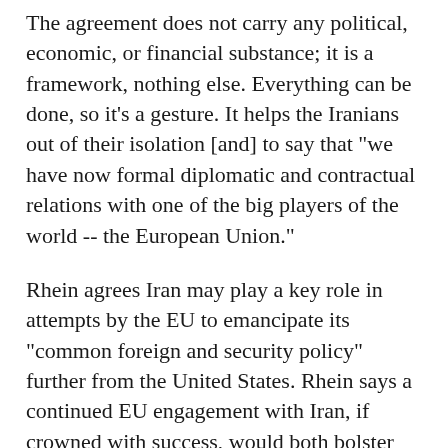The agreement does not carry any political, economic, or financial substance; it is a framework, nothing else. Everything can be done, so it's a gesture. It helps the Iranians out of their isolation [and] to say that "we have now formal diplomatic and contractual relations with one of the big players of the world -- the European Union."
Rhein agrees Iran may play a key role in attempts by the EU to emancipate its "common foreign and security policy" further from the United States. Rhein says a continued EU engagement with Iran, if crowned with success, would both bolster the bloc's image and provide an important service to the United States in the region. "Probably the Americans [are] increasingly ambivalent to the European Union. Whenever the European Union scores a success they